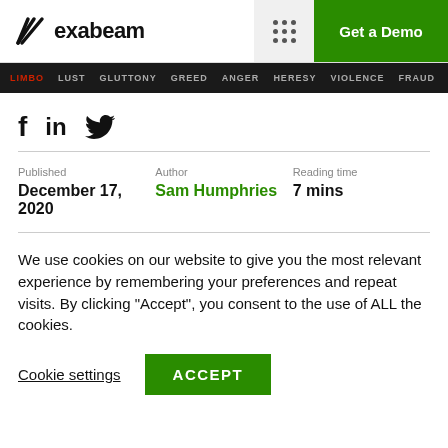exabeam | Get a Demo
LIMBO  LUST  GLUTTONY  GREED  ANGER  HERESY  VIOLENCE  FRAUD  TREACHERY
[Figure (other): Social media icons: Facebook (f), LinkedIn (in), Twitter (bird)]
Published
December 17, 2020
Author
Sam Humphries
Reading time
7 mins
We use cookies on our website to give you the most relevant experience by remembering your preferences and repeat visits. By clicking “Accept”, you consent to the use of ALL the cookies.
Cookie settings  ACCEPT